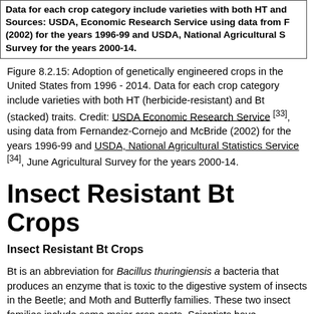Data for each crop category include varieties with both HT and Sources: USDA, Economic Research Service using data from F (2002) for the years 1996-99 and USDA, National Agricultural S Survey for the years 2000-14.
Figure 8.2.15: Adoption of genetically engineered crops in the United States from 1996 - 2014. Data for each crop category include varieties with both HT (herbicide-resistant) and Bt (stacked) traits. Credit: USDA Economic Research Service [33], using data from Fernandez-Cornejo and McBride (2002) for the years 1996-99 and USDA, National Agricultural Statistics Service [34], June Agricultural Survey for the years 2000-14.
Insect Resistant Bt Crops
Insect Resistant Bt Crops
Bt is an abbreviation for Bacillus thuringiensis a bacteria that produces an enzyme that is toxic to the digestive system of insects in the Beetle; and Moth and Butterfly families. These two insect families include some major crop pests. Scientists have transferred the genes that code for the production of the toxins into crop plants.